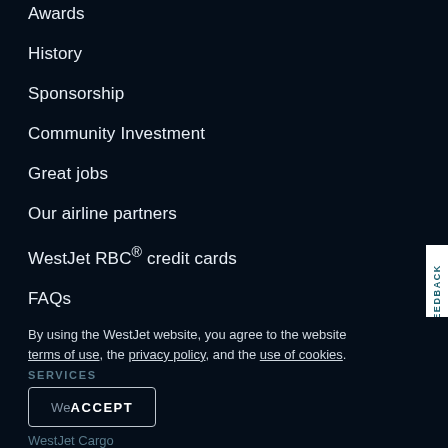Awards
History
Sponsorship
Community Investment
Great jobs
Our airline partners
WestJet RBC® credit cards
FAQs
Sitemap
Media and news
By using the WestJet website, you agree to the website terms of use, the privacy policy, and the use of cookies.
SERVICES
We ACCEPT
WestJet Cargo